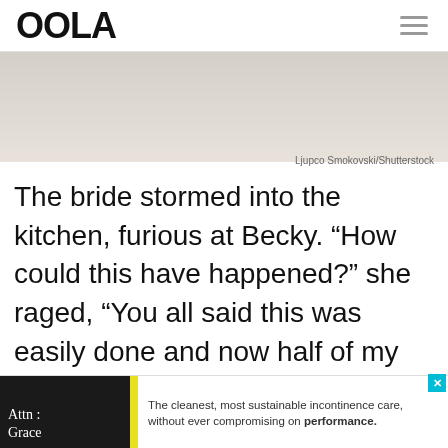OOLA
[Figure (photo): Partial photo of a bride in white dress, cropped at top]
Ljupco Smokovski/Shutterstock
The bride stormed into the kitchen, furious at Becky. “How could this have happened?” she raged, “You all said this was easily done and now half of my friends can’t even come to the reception? You need to fi…
[Figure (infographic): Advertisement banner: Attn: Grace incontinence care product ad. Text reads: The cleanest, most sustainable incontinence care, without ever compromising on performance.]